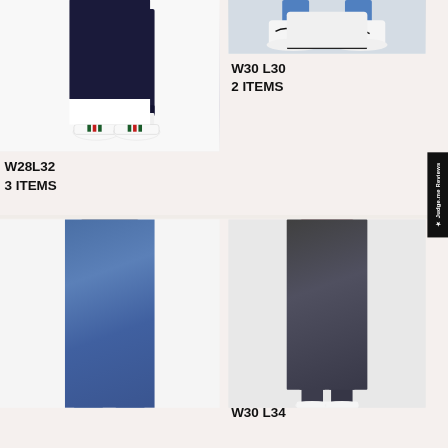[Figure (photo): Bottom half of person wearing dark navy jeans and white Gucci-style sneakers, cropped at mid-thigh, white background]
[Figure (photo): Close-up of white Nike Air Max sneakers on light grey/blue background, cropped at ankles]
W30 L30
2 ITEMS
W28L32
3 ITEMS
[Figure (photo): Rear view of person wearing medium blue wash straight-leg jeans, white background, cropped from waist down]
[Figure (photo): Front view of person wearing dark grey slim jeans with white sneakers, burgundy top, light background]
W30 L34